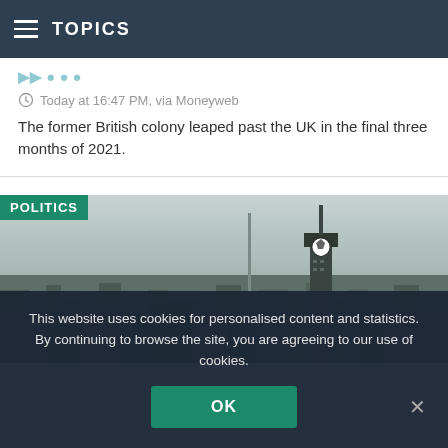TOPICS
Today at 16:47 PM, via Moneyweb
The former British colony leaped past the UK in the final three months of 2021.
[Figure (photo): Aerial view of a city skyline with a tall telecommunications tower (resembling the Hillbrow Tower in Johannesburg) in the foreground, featuring a soccer ball on the tower. The city is covered in haze. A 'POLITICS' category label is overlaid in the top-left corner.]
This website uses cookies for personalised content and statistics. By continuing to browse the site, you are agreeing to our use of cookies.